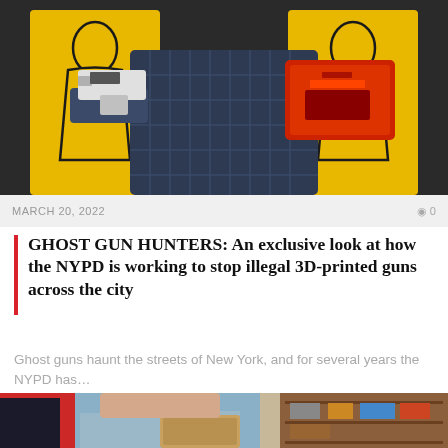[Figure (photo): Person holding a white 3D-printed ghost gun frame and a red rectangular object, standing in front of a yellow target silhouette backdrop]
MARCH 20, 2022
0
GHOST GUN HUNTERS: An exclusive look at how the NYPD is working to stop illegal 3D-printed guns across the city
Ghost guns haunt the streets of New York, and for several years the NYPD has…
[Figure (photo): Person holding a brown bag/envelope in front of shelves with various items, with a red PRINTING KITS label overlay]